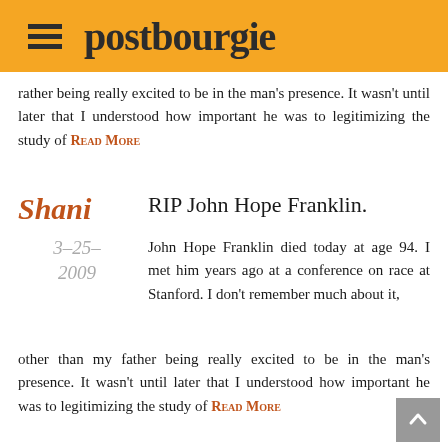postbourgie
rather being really excited to be in the man's presence. It wasn't until later that I understood how important he was to legitimizing the study of READ MORE
RIP John Hope Franklin.
Shani · 3-25-2009
John Hope Franklin died today at age 94. I met him years ago at a conference on race at Stanford. I don't remember much about it, other than my father being really excited to be in the man's presence. It wasn't until later that I understood how important he was to legitimizing the study of READ MORE